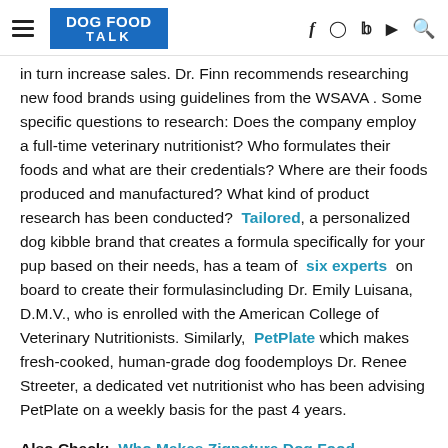DOG FOOD TALK
in turn increase sales. Dr. Finn recommends researching new food brands using guidelines from the WSAVA . Some specific questions to research: Does the company employ a full-time veterinary nutritionist? Who formulates their foods and what are their credentials? Where are their foods produced and manufactured? What kind of product research has been conducted? Tailored, a personalized dog kibble brand that creates a formula specifically for your pup based on their needs, has a team of six experts on board to create their formulasincluding Dr. Emily Luisana, D.M.V., who is enrolled with the American College of Veterinary Nutritionists. Similarly, PetPlate which makes fresh-cooked, human-grade dog foodemploys Dr. Renee Streeter, a dedicated vet nutritionist who has been advising PetPlate on a weekly basis for the past 4 years.
Also Check:  Who Makes Zignature Dog Food